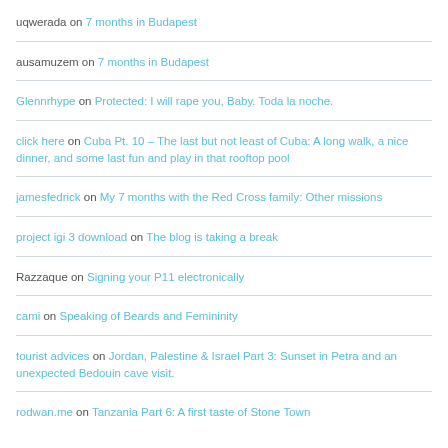uqwerada on 7 months in Budapest
ausamuzem on 7 months in Budapest
Glennrhype on Protected: I will rape you, Baby. Toda la noche.
click here on Cuba Pt. 10 – The last but not least of Cuba: A long walk, a nice dinner, and some last fun and play in that rooftop pool
jamesfedrick on My 7 months with the Red Cross family: Other missions
project igi 3 download on The blog is taking a break
Razzaque on Signing your P11 electronically
cami on Speaking of Beards and Femininity
tourist advices on Jordan, Palestine & Israel Part 3: Sunset in Petra and an unexpected Bedouin cave visit.
rodwan.me on Tanzania Part 6: A first taste of Stone Town